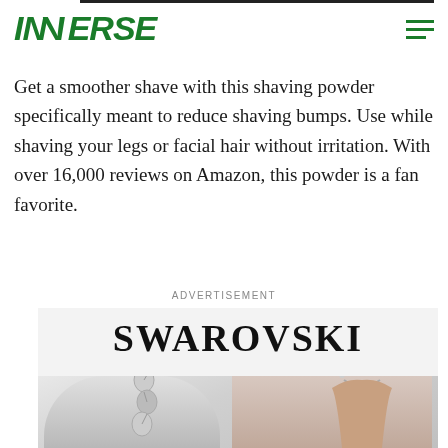INVERSE
Get a smoother shave with this shaving powder specifically meant to reduce shaving bumps. Use while shaving your legs or facial hair without irritation. With over 16,000 reviews on Amazon, this powder is a fan favorite.
ADVERTISEMENT
[Figure (photo): Swarovski advertisement showing crystal jewelry and a female model wearing Swarovski necklace and earrings]